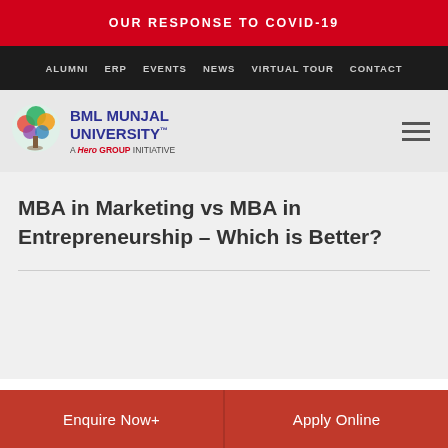OUR RESPONSE TO COVID-19
ALUMNI  ERP  EVENTS  NEWS  VIRTUAL TOUR  CONTACT
[Figure (logo): BML Munjal University logo with colorful tree icon, text 'BML MUNJAL UNIVERSITY™ A Hero Group Initiative']
MBA in Marketing vs MBA in Entrepreneurship – Which is Better?
Enquire Now+
Apply Online